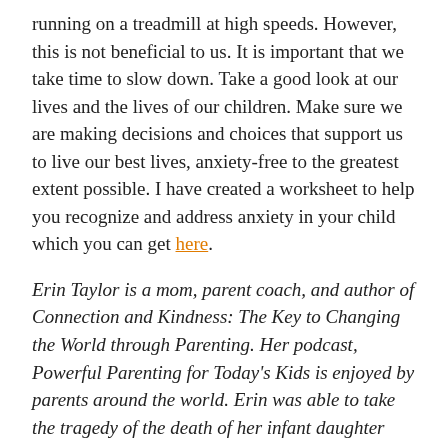running on a treadmill at high speeds. However, this is not beneficial to us. It is important that we take time to slow down. Take a good look at our lives and the lives of our children. Make sure we are making decisions and choices that support us to live our best lives, anxiety-free to the greatest extent possible. I have created a worksheet to help you recognize and address anxiety in your child which you can get here.
Erin Taylor is a mom, parent coach, and author of Connection and Kindness: The Key to Changing the World through Parenting. Her podcast, Powerful Parenting for Today's Kids is enjoyed by parents around the world. Erin was able to take the tragedy of the death of her infant daughter and turn it around to not only survive, but thrive, and help others to do the same. You can learn more about her at www.erin-taylor.com